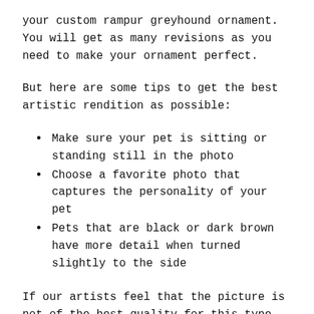your custom rampur greyhound ornament. You will get as many revisions as you need to make your ornament perfect.
But here are some tips to get the best artistic rendition as possible:
Make sure your pet is sitting or standing still in the photo
Choose a favorite photo that captures the personality of your pet
Pets that are black or dark brown have more detail when turned slightly to the side
If our artists feel that the picture is not of the best quality for this type of work, we will let you know. We can even help you pick out a great photo!